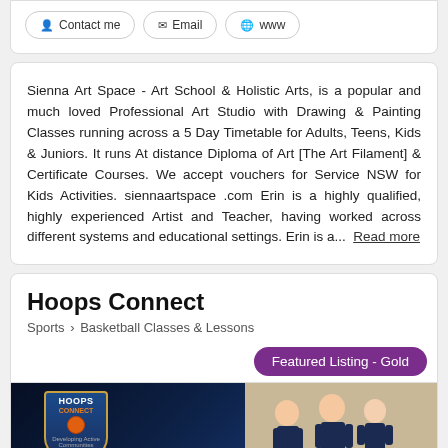Contact me  Email  www
Sienna Art Space - Art School & Holistic Arts, is a popular and much loved Professional Art Studio with Drawing & Painting Classes running across a 5 Day Timetable for Adults, Teens, Kids & Juniors. It runs At distance Diploma of Art [The Art Filament] & Certificate Courses. We accept vouchers for Service NSW for Kids Activities. siennaartspace.com Erin is a highly qualified, highly experienced Artist and Teacher, having worked across different systems and educational settings. Erin is a... Read more
Hoops Connect
Sports > Basketball Classes & Lessons
Featured Listing - Gold
[Figure (photo): Hoops Connect promotional image showing the Hoops Connect logo/shield on a dark blue background alongside three children in basketball uniforms holding a basketball, with a 'REGISTRATIONS NOW OPEN' banner at the bottom]